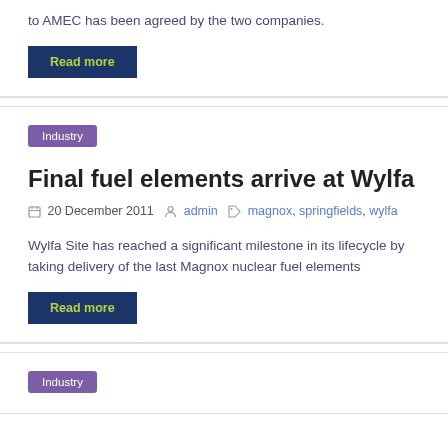to AMEC has been agreed by the two companies.
Read more
Industry
Final fuel elements arrive at Wylfa
20 December 2011  admin  magnox, springfields, wylfa
Wylfa Site has reached a significant milestone in its lifecycle by taking delivery of the last Magnox nuclear fuel elements
Read more
Industry